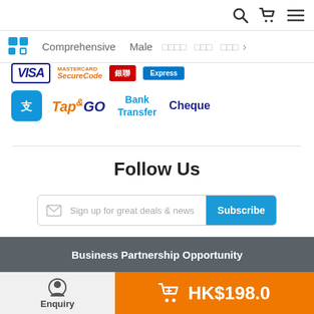Navigation bar with search, cart, and menu icons
Comprehensive | Male | [Chinese categories] >
[Figure (logo): Payment method logos: VISA, SecureCode (Mastercard), UnionPay, Express, Alipay, Tap&Go, Bank Transfer, Cheque]
Follow Us
Sign up for great deals & news
[Figure (logo): Social media icons: Facebook (blue circle), YouTube (red circle), WeChat (green circle)]
Business Partnership Opportunity
Enquiry | HK$198.0